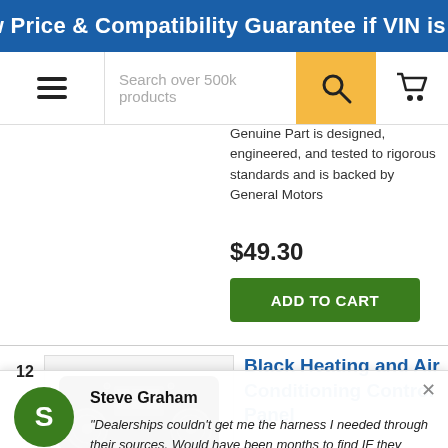Low Price & Compatibility Guarantee if VIN is pr
[Figure (screenshot): Navigation bar with hamburger menu, search box reading 'Search over 500k products', orange search button with magnifying glass icon, and shopping cart icon]
Genuine Part is designed, engineered, and tested to rigorous standards and is backed by General Motors
$49.30
ADD TO CART
[Figure (photo): Black Heating and Air Conditioning Control Panel product photo, item number 12]
Black Heating and Air Conditioning Control Panel
22944952
Steve Graham
"Dealerships couldn't get me the harness I needed through their sources. Would have been months to find IF they could source one. Found world parts direct on eBay. Gave them...
Google ★★★★★  ProveSource